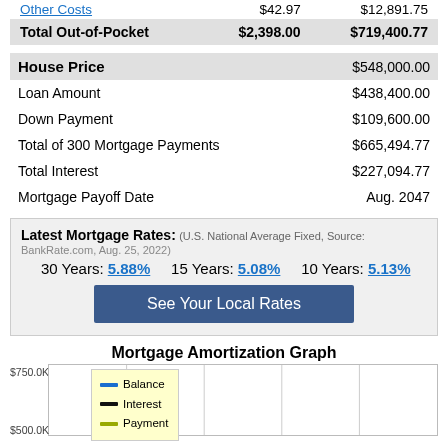|  | Monthly | Total |
| --- | --- | --- |
| Other Costs | $42.97 | $12,891.75 |
| Total Out-of-Pocket | $2,398.00 | $719,400.77 |
|  |  |
| --- | --- |
| House Price | $548,000.00 |
| Loan Amount | $438,400.00 |
| Down Payment | $109,600.00 |
| Total of 300 Mortgage Payments | $665,494.77 |
| Total Interest | $227,094.77 |
| Mortgage Payoff Date | Aug. 2047 |
Latest Mortgage Rates: (U.S. National Average Fixed, Source: BankRate.com, Aug. 25, 2022) 30 Years: 5.88%  15 Years: 5.08%  10 Years: 5.13%
See Your Local Rates
Mortgage Amortization Graph
[Figure (line-chart): Partially visible line chart showing mortgage amortization with Balance, Interest, and Payment series. Y-axis shows $750.0K at top and $500.0K at bottom (partially cut off). Chart is clipped at bottom of page.]